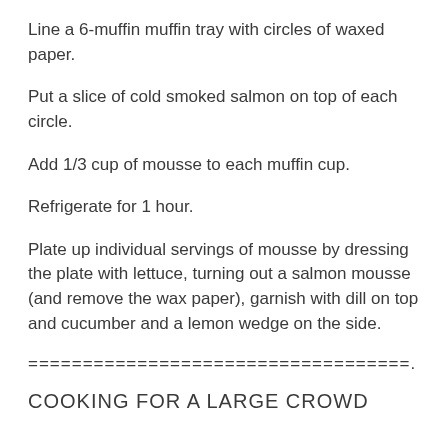Line a 6-muffin muffin tray with circles of waxed paper.
Put a slice of cold smoked salmon on top of each circle.
Add 1/3 cup of mousse to each muffin cup.
Refrigerate for 1 hour.
Plate up individual servings of mousse by dressing the plate with lettuce, turning out a salmon mousse (and remove the wax paper), garnish with dill on top and cucumber and a lemon wedge on the side.
===================================.
COOKING FOR A LARGE CROWD